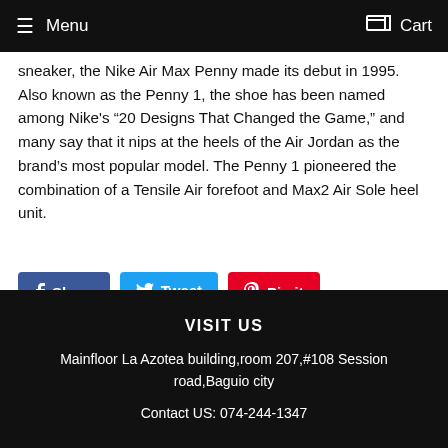Menu  Cart
sneaker, the Nike Air Max Penny made its debut in 1995. Also known as the Penny 1, the shoe has been named among Nike's “20 Designs That Changed the Game,” and many say that it nips at the heels of the Air Jordan as the brand’s most popular model. The Penny 1 pioneered the combination of a Tensile Air forefoot and Max2 Air Sole heel unit.
Share
Tweet
Pin it
VISIT US
Mainfloor La Azotea building,room 207,#108 Session road,Baguio city
Contact US: 074-244-1347